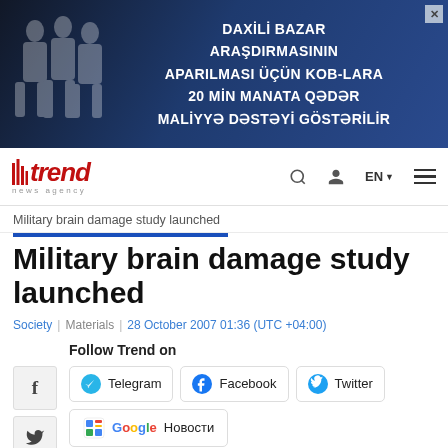[Figure (other): Advertisement banner in Azerbaijani: DAXILI BAZAR ARAŞDIRMASININ APARILMASI ÜÇÜN KOB-LARA 20 MIN MANATA QƏDƏR MALİYYƏ DƏSTƏYİ GÖSTƏRİLİR, with dark blue background and silhouettes of business people]
trend news agency | Search | User | EN | Menu
Military brain damage study launched
Military brain damage study launched
Society | Materials | 28 October 2007 01:36 (UTC +04:00)
Follow Trend on
Telegram  Facebook  Twitter
Google Новости